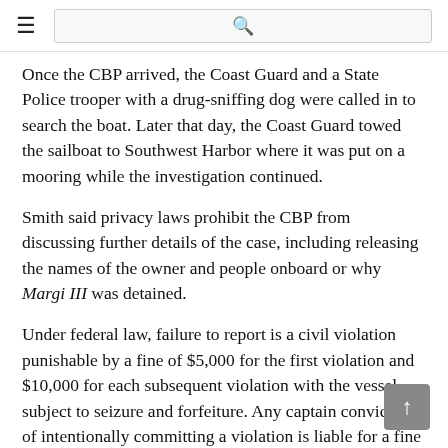≡  [search]
Once the CBP arrived, the Coast Guard and a State Police trooper with a drug-sniffing dog were called in to search the boat. Later that day, the Coast Guard towed the sailboat to Southwest Harbor where it was put on a mooring while the investigation continued.
Smith said privacy laws prohibit the CBP from discussing further details of the case, including releasing the names of the owner and people onboard or why Margi III was detained.
Under federal law, failure to report is a civil violation punishable by a fine of $5,000 for the first violation and $10,000 for each subsequent violation with the vessel subject to seizure and forfeiture. Any captain convicted of intentionally committing a violation is liable for a fine of not more than $2,000 or imprisonment for one year or both.